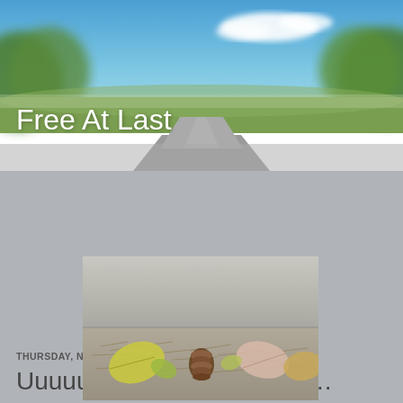[Figure (photo): Blog header banner showing a road with blue sky, clouds, and green trees (blurred/bokeh style)]
Free At Last
THURSDAY, NOVEMBER 17, 2016
Uuuuuuuuuuhhhhhhhhhh …
[Figure (photo): Photograph of autumn leaves, pine needles, and a pine cone arranged along a concrete curb or step]